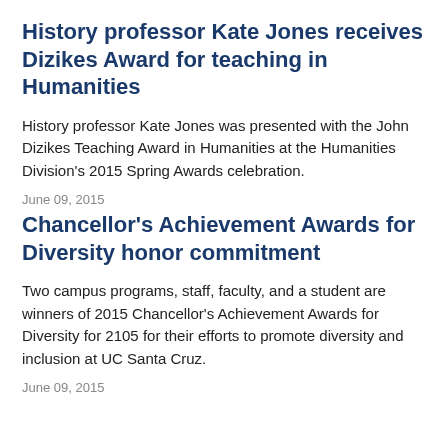History professor Kate Jones receives Dizikes Award for teaching in Humanities
History professor Kate Jones was presented with the John Dizikes Teaching Award in Humanities at the Humanities Division's 2015 Spring Awards celebration.
June 09, 2015
Chancellor's Achievement Awards for Diversity honor commitment
Two campus programs, staff, faculty, and a student are winners of 2015 Chancellor's Achievement Awards for Diversity for 2105 for their efforts to promote diversity and inclusion at UC Santa Cruz.
June 09, 2015